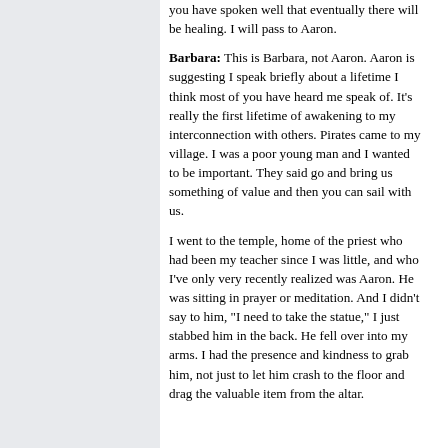you have spoken well that eventually there will be healing. I will pass to Aaron.
Barbara: This is Barbara, not Aaron. Aaron is suggesting I speak briefly about a lifetime I think most of you have heard me speak of. It's really the first lifetime of awakening to my interconnection with others. Pirates came to my village. I was a poor young man and I wanted to be important. They said go and bring us something of value and then you can sail with us.
I went to the temple, home of the priest who had been my teacher since I was little, and who I've only very recently realized was Aaron. He was sitting in prayer or meditation. And I didn't say to him, "I need to take the statue," I just stabbed him in the back. He fell over into my arms. I had the presence and kindness to grab him, not just to let him crash to the floor and drag the valuable item from the altar.